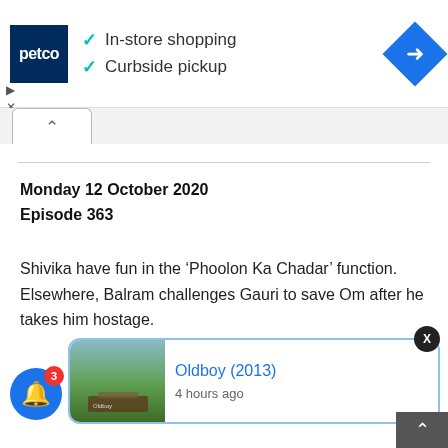[Figure (screenshot): Petco ad banner with logo, checkmarks for In-store shopping and Curbside pickup, and a blue navigation diamond icon]
✓ In-store shopping
✓ Curbside pickup
Monday 12 October 2020
Episode 363
Shivika have fun in the ‘Phoolon Ka Chadar’ function. Elsewhere, Balram challenges Gauri to save Om after he takes him hostage.
[Figure (screenshot): Notification card for Oldboy (2013) with thumbnail image and '4 hours ago' timestamp]
Oldboy (2013)
4 hours ago